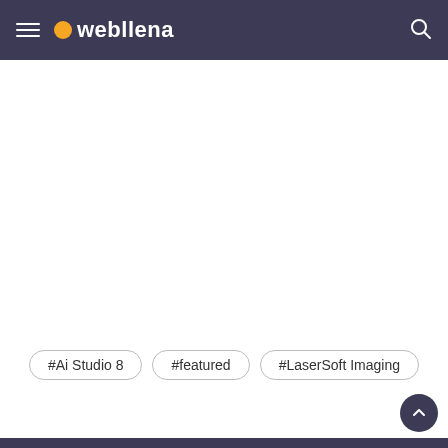webllena
#Ai Studio 8
#featured
#LaserSoft Imaging